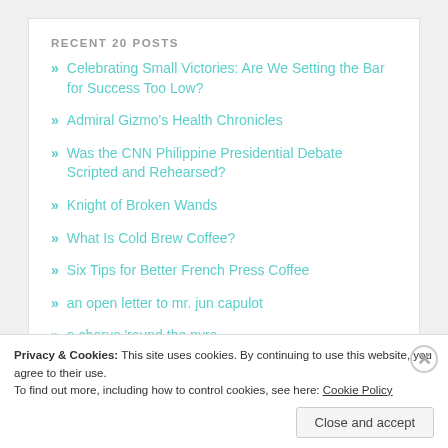RECENT 20 POSTS
Celebrating Small Victories: Are We Setting the Bar for Success Too Low?
Admiral Gizmo's Health Chronicles
Was the CNN Philippine Presidential Debate Scripted and Rehearsed?
Knight of Broken Wands
What Is Cold Brew Coffee?
Six Tips for Better French Press Coffee
an open letter to mr. jun capulot
a chorus 'round the pyre
Privacy & Cookies: This site uses cookies. By continuing to use this website, you agree to their use.
To find out more, including how to control cookies, see here: Cookie Policy